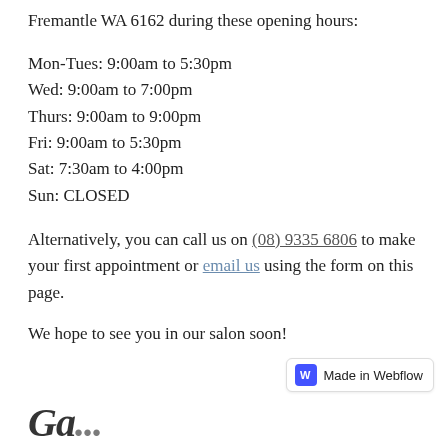Fremantle WA 6162 during these opening hours:
Mon-Tues: 9:00am to 5:30pm
Wed: 9:00am to 7:00pm
Thurs: 9:00am to 9:00pm
Fri: 9:00am to 5:30pm
Sat: 7:30am to 4:00pm
Sun: CLOSED
Alternatively, you can call us on (08) 9335 6806 to make your first appointment or email us using the form on this page.
We hope to see you in our salon soon!
[Figure (logo): Made in Webflow badge with purple W icon]
Section title partial (cut off at bottom of page)